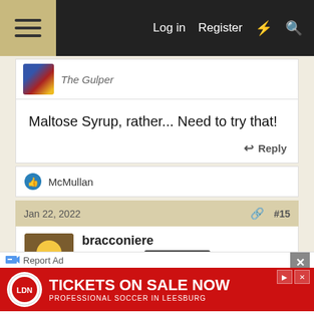Log in | Register
The Gulper
Maltose Syrup, rather... Need to try that!
Reply
McMullan
Jan 22, 2022 #15
bracconiere
Jolly Alcoholic  HBT Supporter
Protos said:
Each time it reinvigorated fermentation visibly, and still I
Report Ad